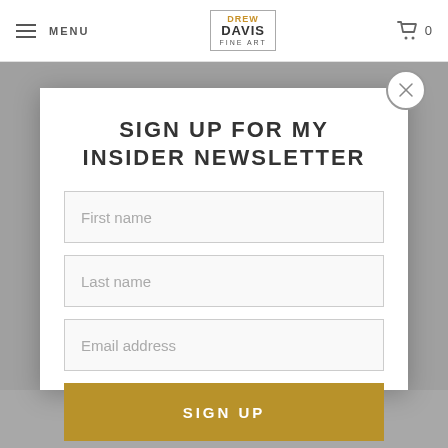MENU | DREW DAVIS FINE ART | 0
SIGN UP FOR MY INSIDER NEWSLETTER
First name
Last name
Email address
SIGN UP
https://images.google.com.vc/url?
q=https://www.ce-top10.com/